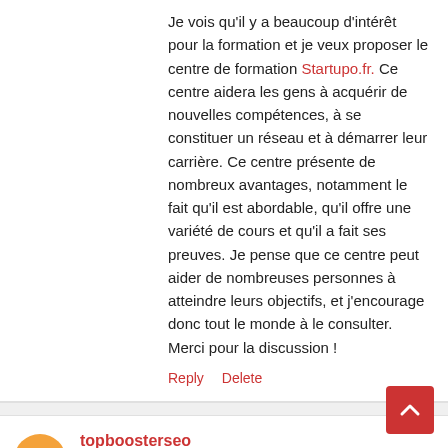Je vois qu'il y a beaucoup d'intérêt pour la formation et je veux proposer le centre de formation Startupo.fr. Ce centre aidera les gens à acquérir de nouvelles compétences, à se constituer un réseau et à démarrer leur carrière. Ce centre présente de nombreux avantages, notamment le fait qu'il est abordable, qu'il offre une variété de cours et qu'il a fait ses preuves. Je pense que ce centre peut aider de nombreuses personnes à atteindre leurs objectifs, et j'encourage donc tout le monde à le consulter. Merci pour la discussion !
Reply   Delete
[Figure (other): Orange circular avatar with white letter B]
topboosterseo
July 23, 2022 at 3:01 AM
I am typically in order to running a blog and that i actually appreciate your content. The actual article actually peaks my personal interest. I am going to save